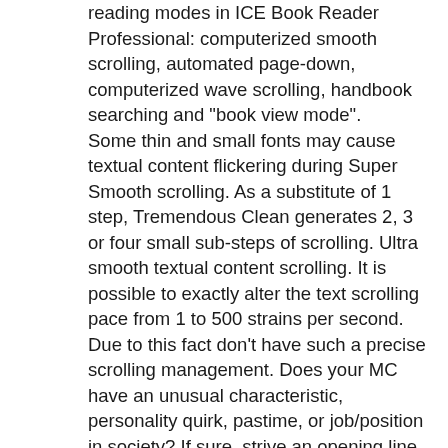reading modes in ICE Book Reader Professional: computerized smooth scrolling, automated page-down, computerized wave scrolling, handbook searching and "book view mode". Some thin and small fonts may cause textual content flickering during Super Smooth scrolling. As a substitute of 1 step, Tremendous Clean generates 2, 3 or four small sub-steps of scrolling. Ultra smooth textual content scrolling. It is possible to exactly alter the text scrolling pace from 1 to 500 strains per second. Due to this fact don't have such a precise scrolling management. Does your MC have an unusual characteristic, personality quirk, pastime, or job/position in society? If sure, strive an opening line or paragraph that highlights it. Premium ebooks It's necessary to have the suitable font, though. Correct speed management could be very vital for comfortable studying. An indicator in the highest proper corner will show the prevailing pace after two pages have been read. There are two scroll modes: fixed scroll speed and variable scroll speed. All of the manuals are reduce right down to the essentials, so you can begin using the system straight away. Utilizing a triple cache system for fast access to book contents with the computerized monitoring of used RAM. Compression of knowledge in addition to all container system tables. Automated compression mode adjustment relying on the contents of a file. Quick on-the-fly